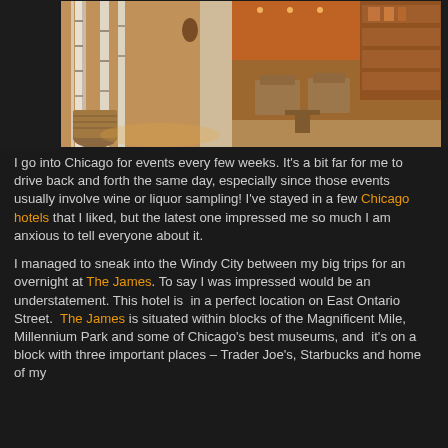[Figure (photo): Hotel lobby interior showing birch tree decorations on left side and modern lounge seating area with warm amber/orange lighting on right side]
I go into Chicago for events every few weeks.  It's a bit far for me to drive back and forth the same day, especially since those events usually involve wine or liquor sampling!  I've stayed in a few Chicago hotels that I liked, but the latest one impressed me so much I am anxious to tell everyone about it.
I managed to sneak into the Windy City between my big trips for an overnight at The James. To say I was impressed would be an understatement. This hotel is  in a perfect location on East Ontario Street.  The James is situated within blocks of the Magnificent Mile, Millennium Park and some of Chicago's best museums, and  it's on a block with three important places – Trader Joe's, Starbucks and home of my